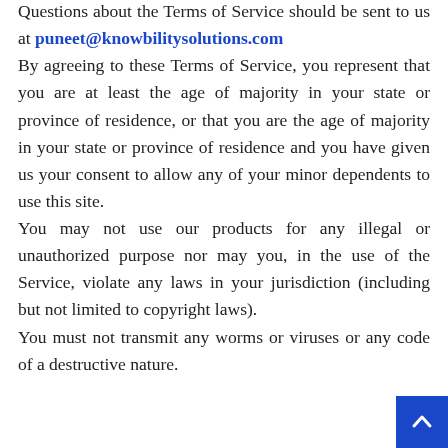Questions about the Terms of Service should be sent to us at puneet@knowbilitysolutions.com
By agreeing to these Terms of Service, you represent that you are at least the age of majority in your state or province of residence, or that you are the age of majority in your state or province of residence and you have given us your consent to allow any of your minor dependents to use this site.
You may not use our products for any illegal or unauthorized purpose nor may you, in the use of the Service, violate any laws in your jurisdiction (including but not limited to copyright laws).
You must not transmit any worms or viruses or any code of a destructive nature.